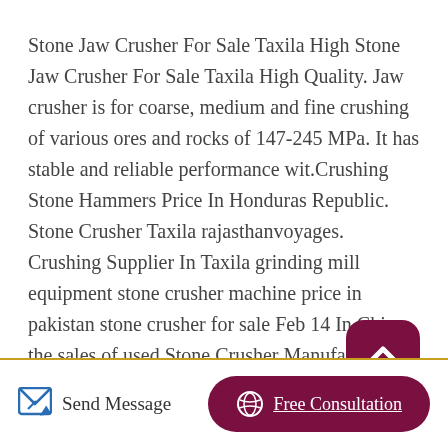Stone Jaw Crusher For Sale Taxila High Stone Jaw Crusher For Sale Taxila High Quality. Jaw crusher is for coarse, medium and fine crushing of various ores and rocks of 147-245 MPa. It has stable and reliable performance wit.Crushing Stone Hammers Price In Honduras Republic. Stone Crusher Taxila rajasthanvoyages. Crushing Supplier In Taxila grinding mill equipment stone crusher machine price in pakistan stone crusher for sale Feb 14 In China the sales of used Stone Crusher Manufacturer . . crusher manufacturer in taxila pakistan batchingplant ga. Posted at October 22 2013 taxila.
[Figure (other): Dark red/maroon rounded square button with a white upward-pointing chevron arrow, used as a scroll-to-top navigation button]
Send Message   Free Consultation